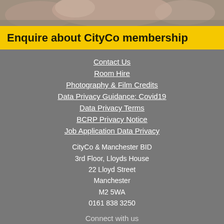[Figure (photo): Partial photo strip at top of page showing blurred floral/outdoor scene]
Enquire about CityCo membership
Contact Us
Room Hire
Photography & Film Credits
Data Privacy Guidance: Covid19
Data Privacy Terms
BCRP Privacy Notice
Job Application Data Privacy
CityCo & Manchester BID
3rd Floor, Lloyds House
22 Lloyd Street
Manchester
M2 5WA
0161 838 3250
Connect with us
[Figure (illustration): Row of five social media icons (Twitter, LinkedIn, YouTube, Flickr, Instagram) as white circles on grey background]